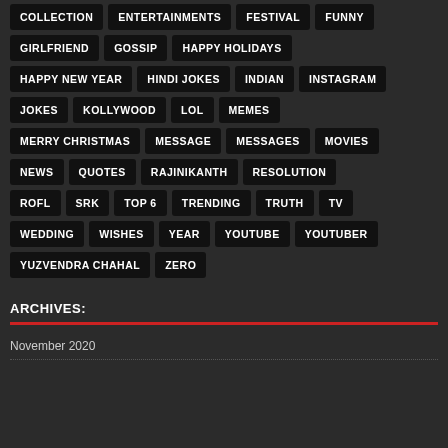COLLECTION, ENTERTAINMENTS, FESTIVAL, FUNNY
GIRLFRIEND, GOSSIP, HAPPY HOLIDAYS
HAPPY NEW YEAR, HINDI JOKES, INDIAN, INSTAGRAM
JOKES, KOLLYWOOD, LOL, MEMES
MERRY CHRISTMAS, MESSAGE, MESSAGES, MOVIES
NEWS, QUOTES, RAJINIKANTH, RESOLUTION
ROFL, SRK, TOP 6, TRENDING, TRUTH, TV
WEDDING, WISHES, YEAR, YOUTUBE, YOUTUBER
YUZVENDRA CHAHAL, ZERO
ARCHIVES:
November 2020